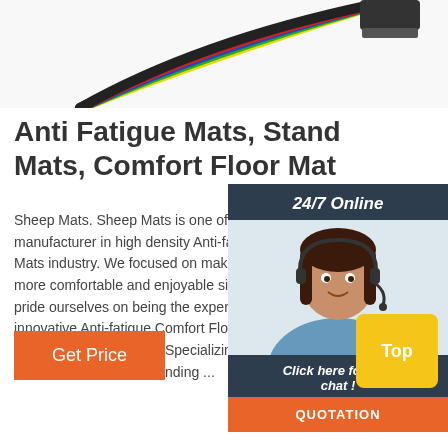[Figure (photo): Colorful resistance band cables (red, green, blue, black, yellow) with connectors at the top, cropped view]
Anti Fatigue Mats, Standing Mats, Comfort Floor Mats
Sheep Mats. Sheep Mats is one of the leading manufacturer in high density Anti-fatigue Comfort Mats industry. We focused on making standing more comfortable and enjoyable since 200... pride ourselves on being the experts of innovative Anti-fatigue Comfort Floor Mats for homes and businesses. Specializing in Anti-fatigue kitchen mats, standing ...
[Figure (infographic): 24/7 Online chat widget with a smiling female agent wearing a headset, dark navy background, with 'Click here for free chat!' text and an orange QUOTATION button]
Get Price
Top